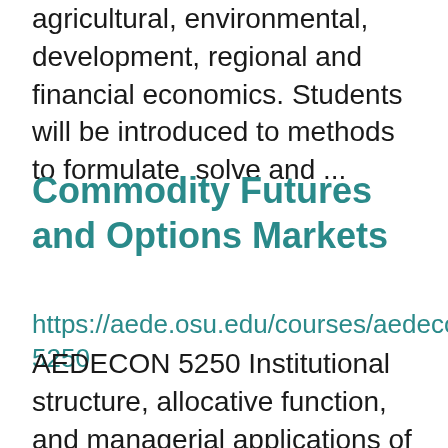agricultural, environmental, development, regional and financial economics. Students will be introduced to methods to formulate, solve and ...
Commodity Futures and Options Markets
https://aede.osu.edu/courses/aedecon-5250
AEDECON 5250 Institutional structure, allocative function, and managerial applications of commodity futures and options markets. Prereq: 2001, 2001H, Econ 2001.01, or 2001.03H; and Math 1130 or 1148. Not open to students with credit for 5250. Graduate level.